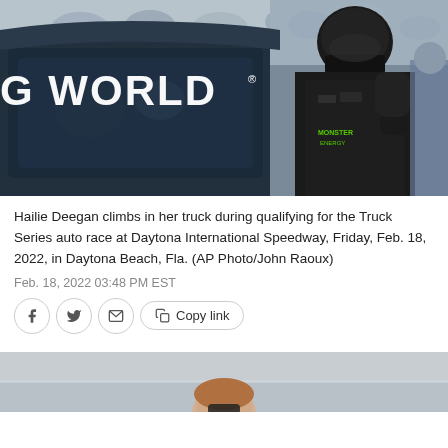[Figure (photo): Hailie Deegan climbing into her NASCAR truck with 'G WORLD' visible on the windshield, driver in black Monster Energy racing suit and helmet, crowd visible in background, at Daytona International Speedway]
Hailie Deegan climbs in her truck during qualifying for the Truck Series auto race at Daytona International Speedway, Friday, Feb. 18, 2022, in Daytona Beach, Fla. (AP Photo/John Raoux)
Feb. 18, 2022 03:48 PM EST
[Figure (photo): Partial photo of a person (likely Hailie Deegan) outdoors at a racing venue, only top of head and shoulders visible, bottom of page cropped]